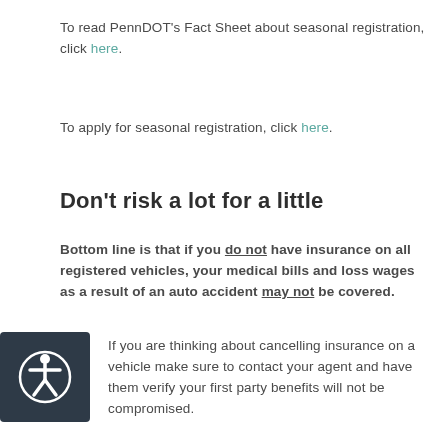To read PennDOT's Fact Sheet about seasonal registration, click here.
To apply for seasonal registration, click here.
Don't risk a lot for a little
Bottom line is that if you do not have insurance on all registered vehicles, your medical bills and loss wages as a result of an auto accident may not be covered.
If you are thinking about cancelling insurance on a vehicle make sure to contact your agent and have them verify your first party benefits will not be compromised.